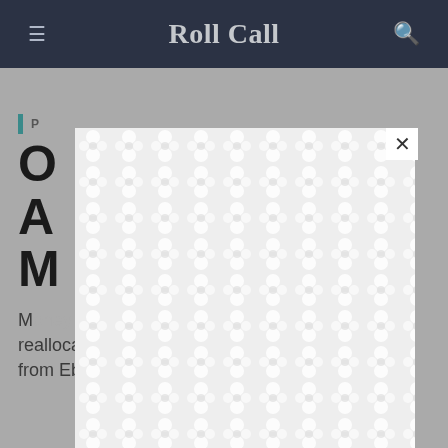Roll Call
[Figure (screenshot): A modal overlay box with a decorative repeating bubble/peanut pattern in light gray and white, with an X close button in the top right corner]
P...
O... n A... o M...
M...y ...s ...t ...s reallocated in April largely from Ebola cash